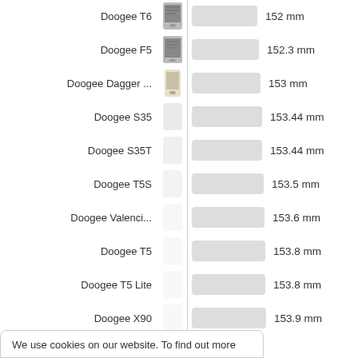[Figure (bar-chart): Doogee phone height comparison]
We use cookies on our website. To find out more